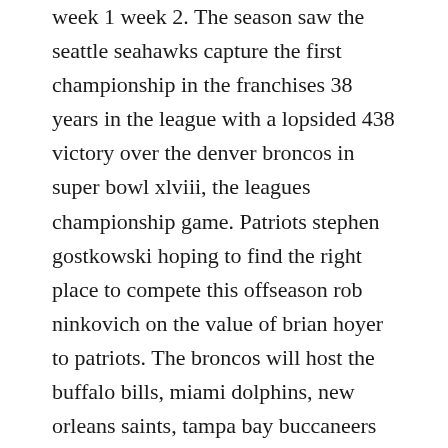week 1 week 2. The season saw the seattle seahawks capture the first championship in the franchises 38 years in the league with a lopsided 438 victory over the denver broncos in super bowl xlviii, the leagues championship game. Patriots stephen gostkowski hoping to find the right place to compete this offseason rob ninkovich on the value of brian hoyer to patriots. The broncos will host the buffalo bills, miami dolphins, new orleans saints, tampa bay buccaneers and the. The 20 regular season began on thursday, september 5, with the nfl kickoff game in which the denver